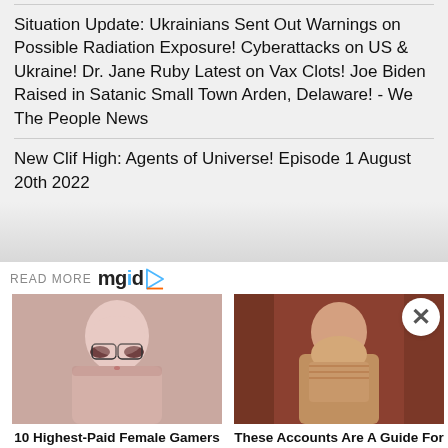Situation Update: Ukrainians Sent Out Warnings on Possible Radiation Exposure! Cyberattacks on US & Ukraine! Dr. Jane Ruby Latest on Vax Clots! Joe Biden Raised in Satanic Small Town Arden, Delaware! - We The People News
New Clif High: Agents of Universe! Episode 1 August 20th 2022
READ MORE mgid
[Figure (photo): Woman with short dark hair and glasses, wearing a pink top and pearl necklace]
10 Highest-Paid Female Gamers In The World
[Figure (photo): Plus-size woman in a gold strapless outfit posing in front of a curtain backdrop]
These Accounts Are A Guide For Plus-size Girls To Look Their Best